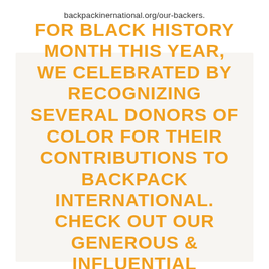backpackinernational.org/our-backers.
FOR BLACK HISTORY MONTH THIS YEAR, WE CELEBRATED BY RECOGNIZING SEVERAL DONORS OF COLOR FOR THEIR CONTRIBUTIONS TO BACKPACK INTERNATIONAL. CHECK OUT OUR GENEROUS & INFLUENTIAL HONOREES BELOW.